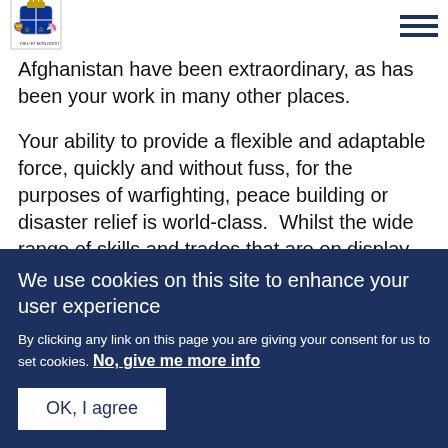UK Government coat of arms and navigation menu
Afghanistan have been extraordinary, as has been your work in many other places.
Your ability to provide a flexible and adaptable force, quickly and without fuss, for the purposes of warfighting, peace building or disaster relief is world-class.  Whilst the wide range of skills and trades that are on display today give truth to your motto,
We use cookies on this site to enhance your user experience

By clicking any link on this page you are giving your consent for us to set cookies. No, give me more info
OK, I agree